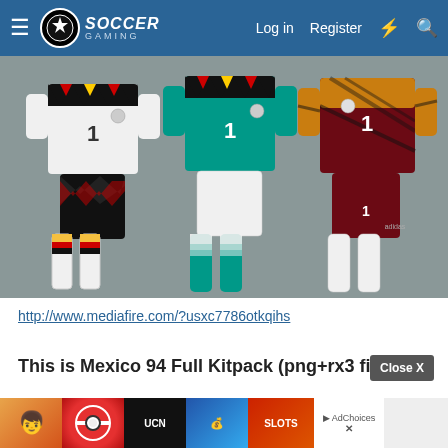Soccer Gaming — Log in  Register
[Figure (illustration): Three soccer kit sets displayed side by side: left - white jersey with black/yellow/red zigzag collar pattern and black zigzag shorts (GK kit #1), center - teal/green jersey with black/yellow/red zigzag collar and white shorts (away kit #1), right - dark red/maroon jersey with orange/black pattern and black shorts (third/GK kit #1). Each kit includes corresponding socks shown below.]
http://www.mediafire.com/?usxc7786otkqihs
This is Mexico 94 Full Kitpack (png+rx3 files)
[Figure (screenshot): Advertisement banner showing game icons: cartoon character runner, Pokemon ball, UCN logo, Cash Frenzy slots game, Slots game icon, and an AdChoices button with close X.]